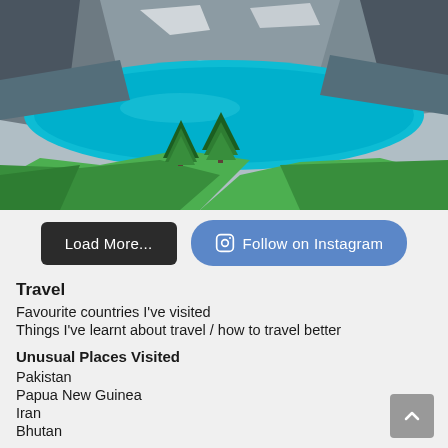[Figure (photo): Aerial view of a vivid turquoise mountain lake surrounded by rocky cliffs and green alpine hills with two pine trees in the foreground]
Load More...
Follow on Instagram
Travel
Favourite countries I've visited
Things I've learnt about travel / how to travel better
Unusual Places Visited
Pakistan
Papua New Guinea
Iran
Bhutan